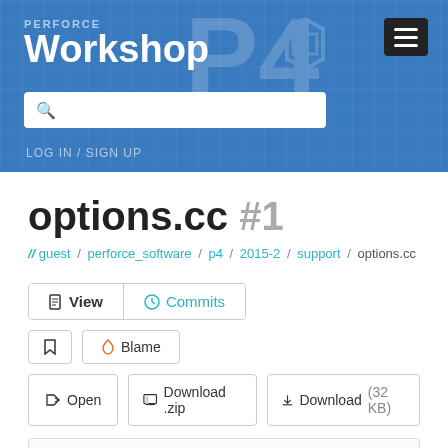PERFORCE Workshop
options.cc #1
// guest / perforce_software / p4 / 2015-2 / support / options.cc
View | Commits | Bookmark | Blame | Open | Download .zip | Download (32 KB)
1.   /*